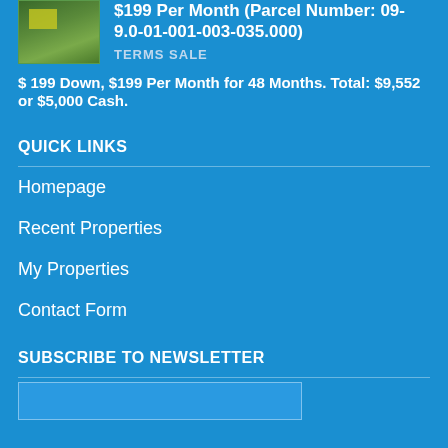$199 Per Month (Parcel Number: 09-9.0-01-001-003-035.000)
TERMS SALE
$ 199 Down, $199 Per Month for 48 Months. Total: $9,552 or $5,000 Cash.
QUICK LINKS
Homepage
Recent Properties
My Properties
Contact Form
SUBSCRIBE TO NEWSLETTER